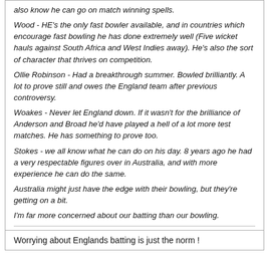also know he can go on match winning spells.
Wood - HE's the only fast bowler available, and in countries which encourage fast bowling he has done extremely well (Five wicket hauls against South Africa and West Indies away). He's also the sort of character that thrives on competition.
Ollie Robinson - Had a breakthrough summer. Bowled brilliantly. A lot to prove still and owes the England team after previous controversy.
Woakes - Never let England down. If it wasn't for the brilliance of Anderson and Broad he'd have played a hell of a lot more test matches. He has something to prove too.
Stokes - we all know what he can do on his day. 8 years ago he had a very respectable figures over in Australia, and with more experience he can do the same.
Australia might just have the edge with their bowling, but they're getting on a bit.
I'm far more concerned about our batting than our bowling.
Worrying about Englands batting is just the norm !